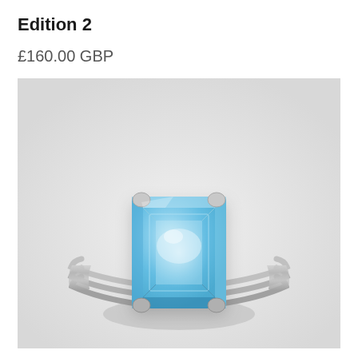Edition 2
£160.00 GBP
[Figure (photo): A silver ring with a large rectangular emerald-cut light blue gemstone (aquamarine/blue topaz) held by four prong settings, with a triple-band silver shank, photographed on a light grey/white background.]